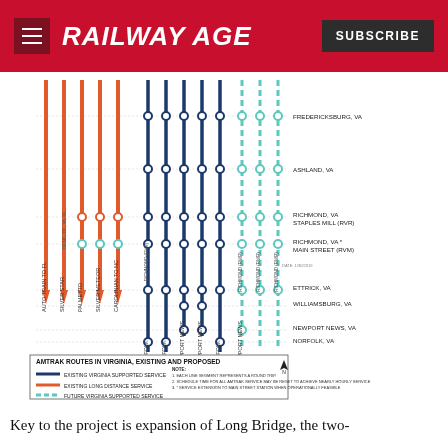RAILWAY AGE
[Figure (infographic): Amtrak Routes in Virginia, Existing and Proposed — a transit map diagram showing vertical rail lines (orange for existing long distance service, dark blue for existing Virginia supported service, teal dashed for future Virginia supported service) with station stops along each route. Routes labeled include: Auto Train to FL, Silver Star, Palmetto, Silver Meteor, Carolinian to NC, Norfolk, Norfolk, Newport News, Newport News, Norfolk, Newport News. Stations listed on right: Fredericksburg VA, Ashland VA, Richmond VA Staples Mill (RVR), Richmond VA Main Street (RVM), Ettrick VA, Williamsburg VA, Newport News VA, Norfolk VA. Legend and note at bottom.]
Key to the project is expansion of Long Bridge, the two-